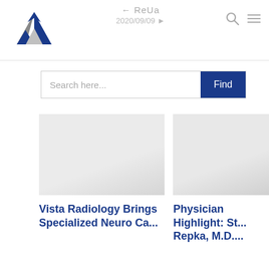[Figure (logo): Vista Radiology logo: stylized V shape with blue and grey triangles]
← ReUa
2020/09/09
Search here...
[Figure (photo): Placeholder image for article 1]
Vista Radiology Brings Specialized Neuro Ca...
[Figure (photo): Placeholder image for article 2]
Physician Highlight: St... Repka, M.D....